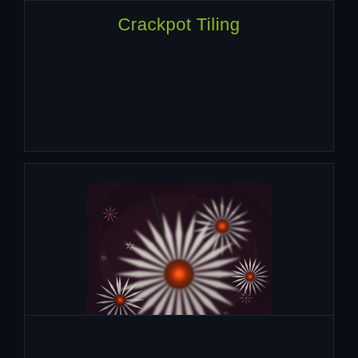Crackpot Tiling
[Figure (illustration): A fractal artwork showing large daisy-like flowers with white spiky petals and dark red centers, surrounded by spiral arrangements of smaller daisy fractals on a dark purple-brown background.]
Daisy Chain